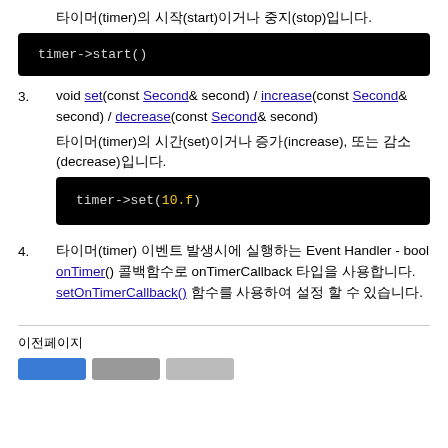타이머(timer)의 시작(start)이거나 중지(stop)입니다.
timer->start()
void set(const Second& second) / increase(const Second& second) / decrease(const Second& second)
타이머(timer)의 시간(set)이거나 증가(increase), 또는 감소(decrease)입니다.
timer->set(10.f)
타이머(timer) 이벤트 발생시에 실행하는 Event Handler - bool onTimer() 콜백함수로 onTimerCallback 타입을 사용합니다. setOnTimerCallback() 함수를 사용하여 설정 할 수 있습니다.
이전페이지